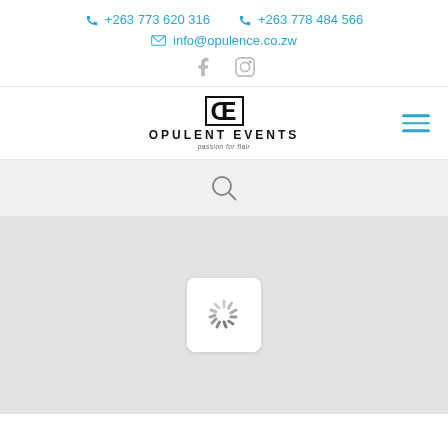+263 773 620 316  +263 778 484 566  info@opulence.co.zw
[Figure (logo): Opulent Events logo with OE monogram and tagline 'passion for flair']
[Figure (screenshot): Website screenshot showing search bar and loading spinner on grey background]